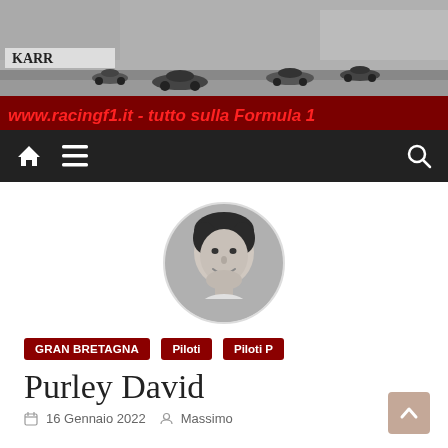[Figure (photo): Website header banner with vintage black-and-white Formula 1 racing cars on a track, with a dark red banner overlay showing the website URL and tagline in red italic text: www.racingf1.it - tutto sulla Formula 1]
www.racingf1.it - tutto sulla Formula 1
[Figure (photo): Black and white circular portrait photo of David Purley, a young man with dark hair, smiling]
GRAN BRETAGNA
Piloti
Piloti P
Purley David
16 Gennaio 2022  Massimo